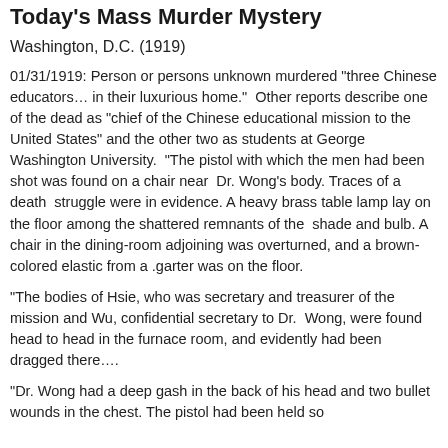Today's Mass Murder Mystery
Washington, D.C. (1919)
01/31/1919: Person or persons unknown murdered "three Chinese educators… in their luxurious home." Other reports describe one of the dead as "chief of the Chinese educational mission to the United States" and the other two as students at George Washington University. "The pistol with which the men had been shot was found on a chair near Dr. Wong's body. Traces of a death struggle were in evidence. A heavy brass table lamp lay on the floor among the shattered remnants of the shade and bulb. A chair in the dining-room adjoining was overturned, and a brown-colored elastic from a .garter was on the floor.
"The bodies of Hsie, who was secretary and treasurer of the mission and Wu, confidential secretary to Dr. Wong, were found head to head in the furnace room, and evidently had been dragged there….
"Dr. Wong had a deep gash in the back of his head and two bullet wounds in the chest. The pistol had been held so